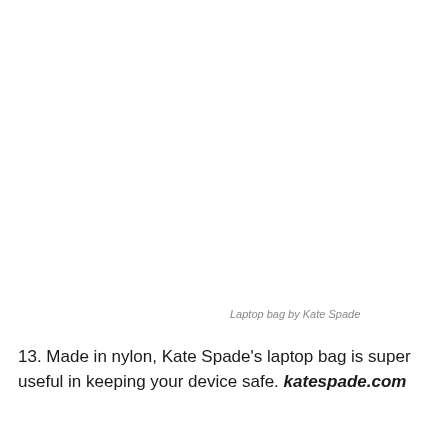Laptop bag by Kate Spade
13. Made in nylon, Kate Spade's laptop bag is super useful in keeping your device safe. katespade.com